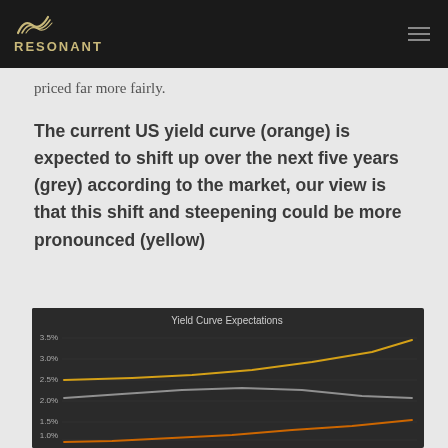RESONANT
priced far more fairly.
The current US yield curve (orange) is expected to shift up over the next five years (grey) according to the market, our view is that this shift and steepening could be more pronounced (yellow)
[Figure (line-chart): Line chart showing three yield curves: orange (current US yield curve, rising from ~0.5% to ~1.8%), grey (5-year market expectation, relatively flat around 2.0-2.4%), and yellow (Resonant view, rising from ~2.5% to ~3.3%). Y-axis from 0.5% to 3.5%.]